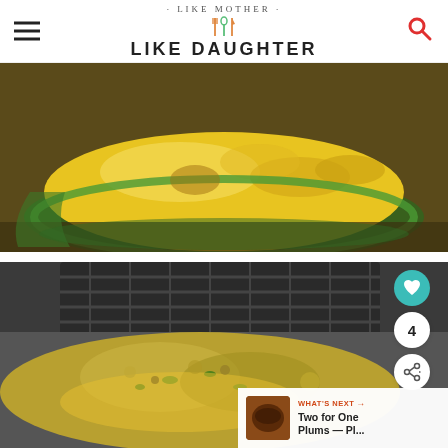· LIKE MOTHER · LIKE DAUGHTER
[Figure (photo): Close-up photo of yellow macaroni or pasta dish in a glass baking dish, from above/side angle, with cheesy golden sauce]
[Figure (photo): Close-up photo of breaded/crumbed food dish with green bits, possibly baked mac and cheese with breadcrumb topping, with heart/share buttons and What's Next bar showing 'Two for One Plums — Pl...' with thumbnail]